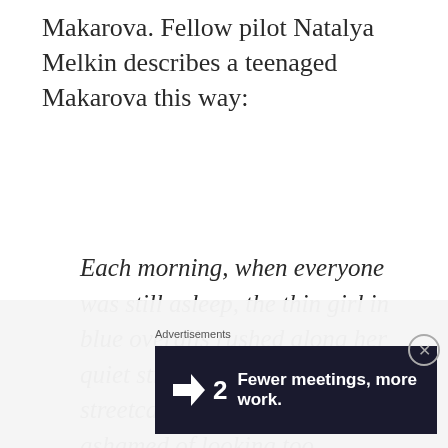Makarova. Fellow pilot Natalya Melkin describes a teenaged Makarova this way:
Each morning, when everyone was still asleep, the thin girl in blue overalls rushed along her quiet street to the first streetcar...Always a little ashamed of looking too feminine and not at all like a pilot, Tanya, to make up for it, strove to
Advertisements
[Figure (other): Advertisement banner with dark navy background showing a cursor/arrow icon, the number 2, and the text 'Fewer meetings, more work.' in bold white text.]